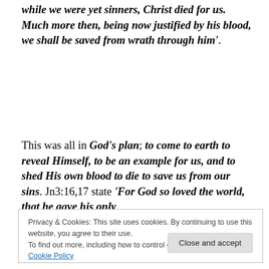while we were yet sinners, Christ died for us. Much more then, being now justified by his blood, we shall be saved from wrath through him'.
This was all in God's plan; to come to earth to reveal Himself, to be an example for us, and to shed His own blood to die to save us from our sins. Jn3:16,17 state 'For God so loved the world, that he gave his only
Privacy & Cookies: This site uses cookies. By continuing to use this website, you agree to their use.
To find out more, including how to control cookies, see here: Cookie Policy
Close and accept
A